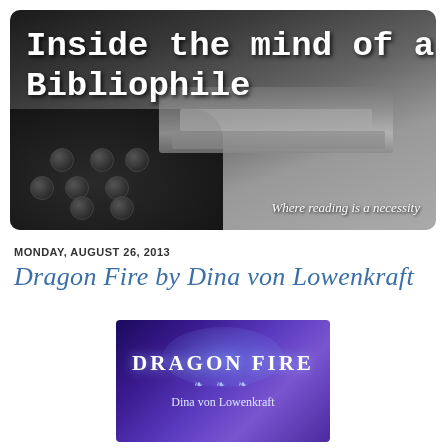[Figure (photo): Blog header banner showing a close-up black and white photo of a typewriter with keys and mechanical parts visible. Text overlay reads 'Inside the mind of a Bibliophile' and 'Where reading is a necessity'.]
MONDAY, AUGUST 26, 2013
Dragon Fire by Dina von Lowenkraft
[Figure (photo): Book cover for 'Dragon Fire' by Dina von Lowenkraft. Purple/blue gradient background with the title 'DRAGON FIRE' in large white letters, decorative swirls, and author name 'Dina von Lowenkraft' below.]